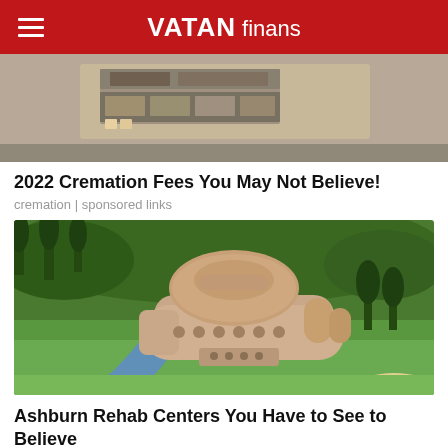VATAN finans
[Figure (photo): Close-up of electronic circuit board or industrial device with metallic components]
2022 Cremation Fees You May Not Believe!
cremation | sponsored links
[Figure (photo): Aerial view of a large round/dome-shaped building complex surrounded by lush green golf course with a stream and waterfall]
Ashburn Rehab Centers You Have to See to Believe